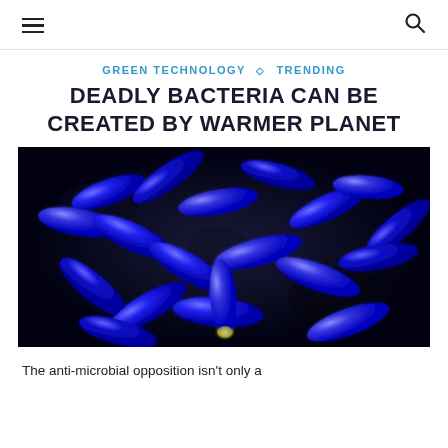≡  🔍
GREEN TECHNOLOGY ◇ TRENDING
DEADLY BACTERIA CAN BE CREATED BY WARMER PLANET
[Figure (photo): Colorized scanning electron microscope image of blue rod-shaped bacteria (E. coli) on a dark background]
The anti-microbial opposition isn't only a